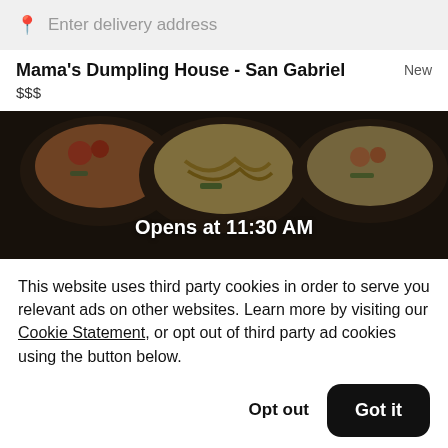Enter delivery address
Mama's Dumpling House - San Gabriel
$$$
New
[Figure (photo): Food photograph showing multiple white bowls with various dishes including noodles, vegetables, and seafood, with a dark overlay and text 'Opens at 11:30 AM']
This website uses third party cookies in order to serve you relevant ads on other websites. Learn more by visiting our Cookie Statement, or opt out of third party ad cookies using the button below.
Opt out
Got it